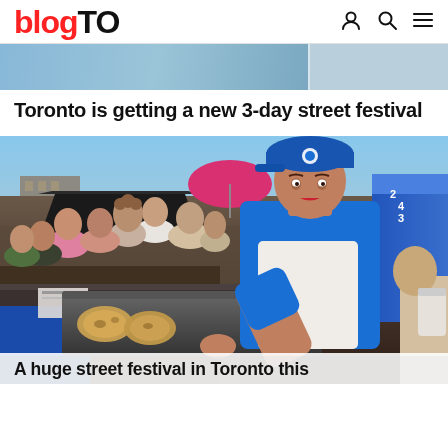blogTO
[Figure (photo): Top strip of a street festival photo showing partial crowd scene and blue sky]
Toronto is getting a new 3-day street festival
[Figure (photo): A woman in a blue cap and apron cooking tortillas or arepas on a large flat griddle at a busy outdoor street festival. Crowd of people visible in background.]
A huge street festival in Toronto this